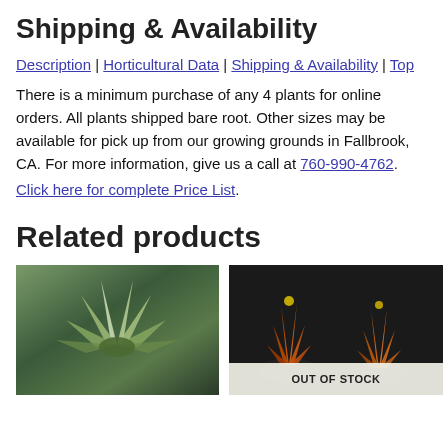Shipping & Availability
Description | Horticultural Data | Shipping & Availability | Top
There is a minimum purchase of any 4 plants for online orders. All plants shipped bare root. Other sizes may be available for pick up from our growing grounds in Fallbrook, CA. For more information, give us a call at 760-990-4762.
Click here for complete Price List.
Related products
[Figure (photo): Photo of an agave or similar succulent plant with spiky green and white leaves]
[Figure (photo): Photo of succulent plants with orange-red elongated leaves in black pots, with an OUT OF STOCK banner overlay]